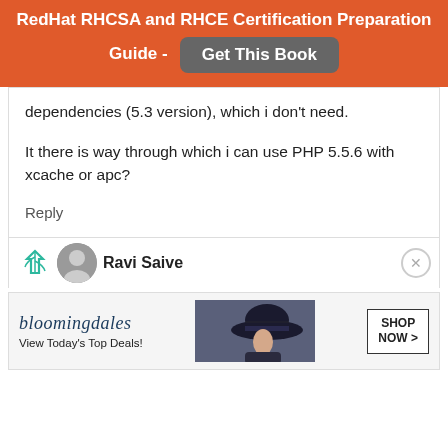RedHat RHCSA and RHCE Certification Preparation Guide - Get This Book
dependencies (5.3 version), which i don't need.

It there is way through which i can use PHP 5.5.6 with xcache or apc?
Reply
Ravi Saive
[Figure (screenshot): Bloomingdales advertisement banner: logo, tagline 'View Today's Top Deals!', woman with hat image, and 'SHOP NOW >' button]